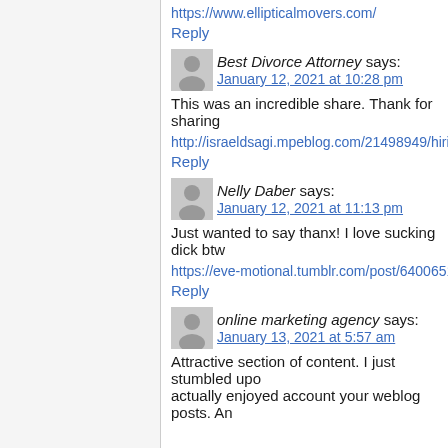https://www.ellipticalmovers.com/
Reply
Best Divorce Attorney says: January 12, 2021 at 10:28 pm
This was an incredible share. Thank for sharing
http://israeldsagi.mpeblog.com/21498949/hiring-
Reply
Nelly Daber says: January 12, 2021 at 11:13 pm
Just wanted to say thanx! I love sucking dick btw
https://eve-motional.tumblr.com/post/6400651337
Reply
online marketing agency says: January 13, 2021 at 5:57 am
Attractive section of content. I just stumbled upon actually enjoyed account your weblog posts. An